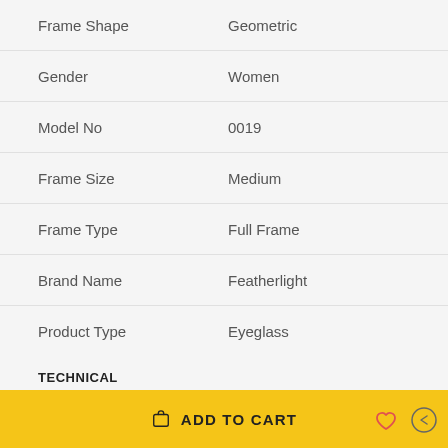| Attribute | Value |
| --- | --- |
| Frame Shape | Geometric |
| Gender | Women |
| Model No | 0019 |
| Frame Size | Medium |
| Frame Type | Full Frame |
| Brand Name | Featherlight |
| Product Type | Eyeglass |
TECHNICAL
| Attribute | Value |
| --- | --- |
| Lens Width | 50 |
| Bridge | 15 |
ADD TO CART